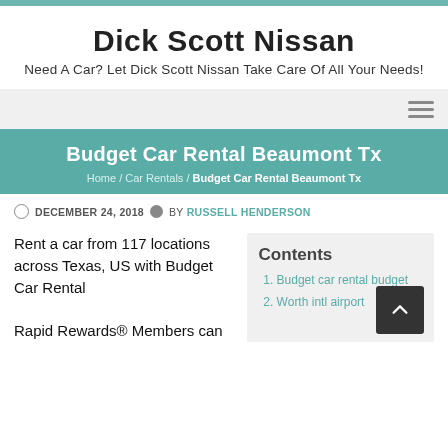Dick Scott Nissan
Need A Car? Let Dick Scott Nissan Take Care Of All Your Needs!
Budget Car Rental Beaumont Tx
Home / Car Rentals / Budget Car Rental Beaumont Tx
© DECEMBER 24, 2018 BY RUSSELL HENDERSON
Rent a car from 117 locations across Texas, US with Budget Car Rental
Rapid Rewards® Members can
Contents
Budget car rental budget
Worth intl airport